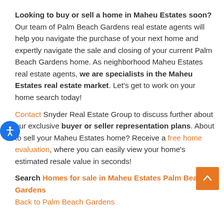Looking to buy or sell a home in Maheu Estates soon? Our team of Palm Beach Gardens real estate agents will help you navigate the purchase of your next home and expertly navigate the sale and closing of your current Palm Beach Gardens home. As neighborhood Maheu Estates real estate agents, we are specialists in the Maheu Estates real estate market. Let's get to work on your home search today!
Contact Snyder Real Estate Group to discuss further about our exclusive buyer or seller representation plans. About to sell your Maheu Estates home? Receive a free home evaluation, where you can easily view your home's estimated resale value in seconds!
Search Homes for sale in Maheu Estates Palm Beach Gardens
Back to Palm Beach Gardens